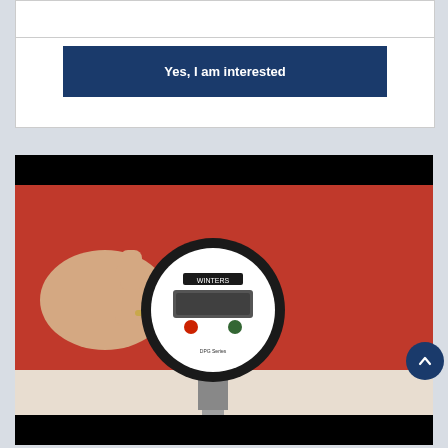[Figure (other): A blue button labeled 'Yes, I am interested' on a white card background]
[Figure (photo): A digital pressure gauge by Winters Instruments mounted on a surface, with a hand pointing at it, against a red background. The gauge has a black bezel, white face with digital LCD display, and a metal stem/fitting at the bottom.]